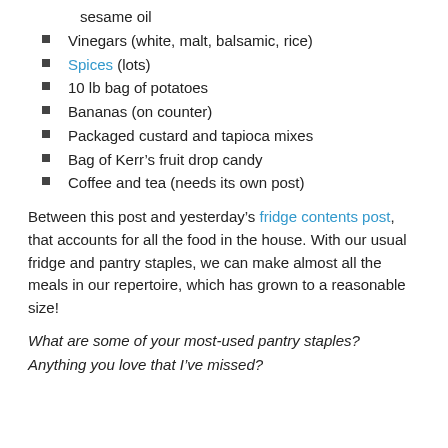sesame oil
Vinegars (white, malt, balsamic, rice)
Spices (lots)
10 lb bag of potatoes
Bananas (on counter)
Packaged custard and tapioca mixes
Bag of Kerr’s fruit drop candy
Coffee and tea (needs its own post)
Between this post and yesterday’s fridge contents post, that accounts for all the food in the house. With our usual fridge and pantry staples, we can make almost all the meals in our repertoire, which has grown to a reasonable size!
What are some of your most-used pantry staples? Anything you love that I’ve missed?